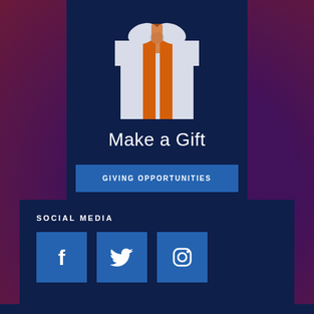[Figure (illustration): Gift box icon in white and orange on dark navy background]
Make a Gift
GIVING OPPORTUNITIES
SOCIAL MEDIA
[Figure (illustration): Facebook, Twitter, and Instagram social media icons as blue square buttons]